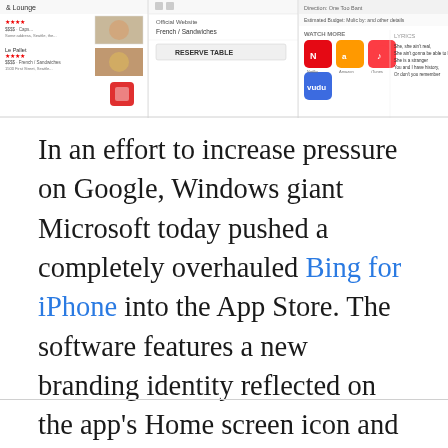[Figure (screenshot): Three mobile/app screenshot panels showing Bing app interfaces: restaurant search results, a reservation/food detail view, and a music/media streaming interface with app icons including Netflix, Amazon, iTunes, and Vudu.]
In an effort to increase pressure on Google, Windows giant Microsoft today pushed a completely overhauled Bing for iPhone into the App Store. The software features a new branding identity reflected on the app's Home screen icon and a matching new-look interface with tight iOS integration via deep linking.
In addition, the app now works offline so you can go back to your bookmarks and search history even when you don't have an Internet connection.